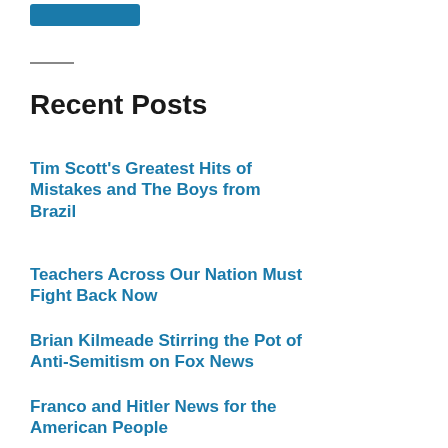[Figure (other): Blue button/banner element at top of page]
Recent Posts
Tim Scott's Greatest Hits of Mistakes and The Boys from Brazil
Teachers Across Our Nation Must Fight Back Now
Brian Kilmeade Stirring the Pot of Anti-Semitism on Fox News
Franco and Hitler News for the American People